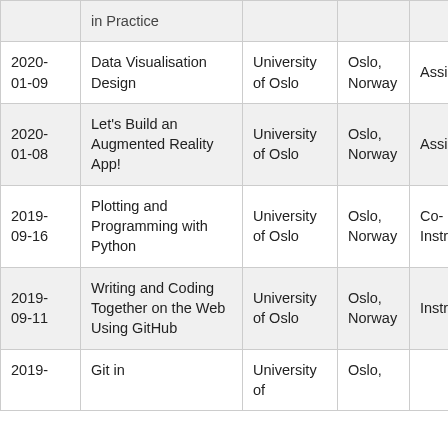| Date | Event/Course | Institution | Location | Role |
| --- | --- | --- | --- | --- |
| 2020-01-09 | Data Visualisation Design | University of Oslo | Oslo, Norway | Assistant |
| 2020-01-08 | Let's Build an Augmented Reality App! | University of Oslo | Oslo, Norway | Assistant |
| 2019-09-16 | Plotting and Programming with Python | University of Oslo | Oslo, Norway | Co-Instructor |
| 2019-09-11 | Writing and Coding Together on the Web Using GitHub | University of Oslo | Oslo, Norway | Instructor |
| 2019- | Git in Practice | University of Oslo | Oslo, |  |